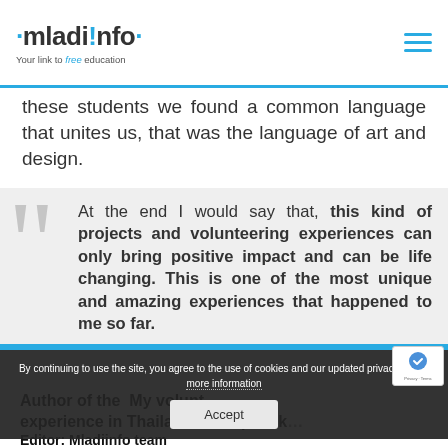·mladi!nfo· Your link to free education
these students we found a common language that unites us, that was the language of art and design.
At the end I would say that, this kind of projects and volunteering experiences can only bring positive impact and can be life changing. This is one of the most unique and amazing experiences that happened to me so far.
By continuing to use the site, you agree to the use of cookies and our updated privacy policy. more information
Author of the "My volunteering experience in Thailand" – Filip Velk… Editor: Mladiinfo team